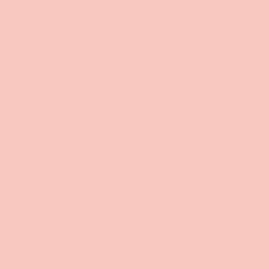Damocles exclaimed that, as a g... Dionysius was truly fortunate. Dio... him for a day, so he could taste first...
In the evening a banquet was held ... being waited upon like a king. Only ... and notice a sharpened sword har... single horse-hair. Immediately, he ... beautiful boys and asked leave of th... to be so fortunate.
Dionysius had successfully convey... which the great man lives.
(In more modern artistic depictions ... replaces the beautiful boys with ... examples of Christian censorship of...
[Figure (photo): A painting or artwork depicting a classical scene, showing ornate golden decorative elements and architectural details with warm browns and golds, likely depicting Damocles or Dionysius scene.]